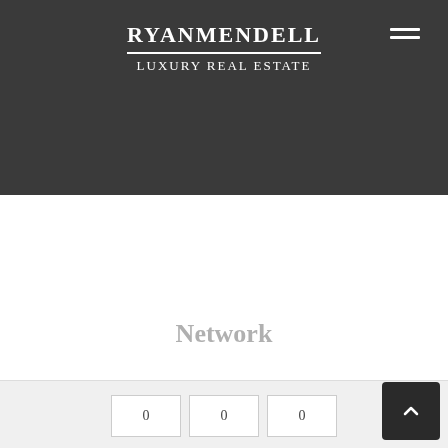RYANMENDELL LUXURY REAL ESTATE
– Bryan G. Barrish, Generations Healthcare Network